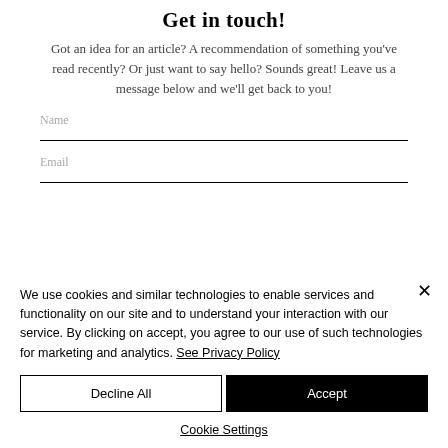Get in touch!
Got an idea for an article? A recommendation of something you've read recently? Or just want to say hello? Sounds great! Leave us a message below and we'll get back to you!
Name
Email
We use cookies and similar technologies to enable services and functionality on our site and to understand your interaction with our service. By clicking on accept, you agree to our use of such technologies for marketing and analytics. See Privacy Policy
Decline All
Accept
Cookie Settings